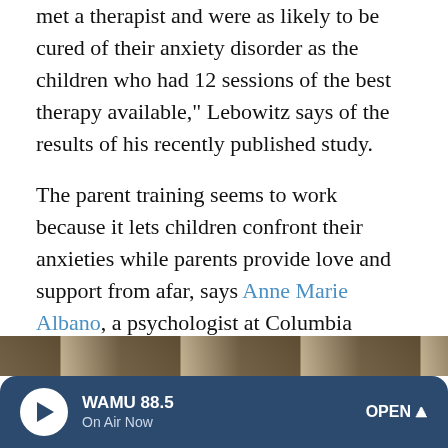met a therapist and were as likely to be cured of their anxiety disorder as the children who had 12 sessions of the best therapy available," Lebowitz says of the results of his recently published study.
The parent training seems to work because it lets children confront their anxieties while parents provide love and support from afar, says Anne Marie Albano, a psychologist at Columbia University who did not work on the study.
"You coach the child a bit but don't take over. It's helping the child stumble into their own way of coping and ride whatever wave of anxiety they're having," she says. "That ultimately builds their confidence."
[Figure (photo): Partial view of a photo at the bottom of the page, showing warm brown tones, partially obscured by the WAMU radio player bar.]
WAMU 88.5 — On Air Now — OPEN